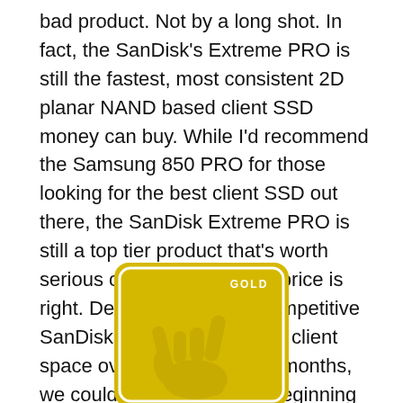bad product. Not by a long shot. In fact, the SanDisk's Extreme PRO is still the fastest, most consistent 2D planar NAND based client SSD money can buy. While I'd recommend the Samsung 850 PRO for those looking for the best client SSD out there, the SanDisk Extreme PRO is still a top tier product that's worth serious consideration if the price is right. Depending on how competitive SanDisk intends to be in the client space over the next couple months, we could possibly see the beginning of an enthusiast SSD price war by the end of this year – a huge win for consumers down the road.
[Figure (illustration): Gold award badge with a rounded rectangle border, 'GOLD' text in top right, and a hand making a rock-on/shaka gesture silhouette in lighter gold against a yellow-gold background.]